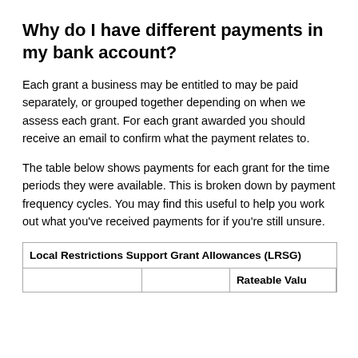Why do I have different payments in my bank account?
Each grant a business may be entitled to may be paid separately, or grouped together depending on when we assess each grant. For each grant awarded you should receive an email to confirm what the payment relates to.
The table below shows payments for each grant for the time periods they were available. This is broken down by payment frequency cycles. You may find this useful to help you work out what you've received payments for if you're still unsure.
| Local Restrictions Support Grant Allowances (LRSG) |  | Rateable Valu |
| --- | --- | --- |